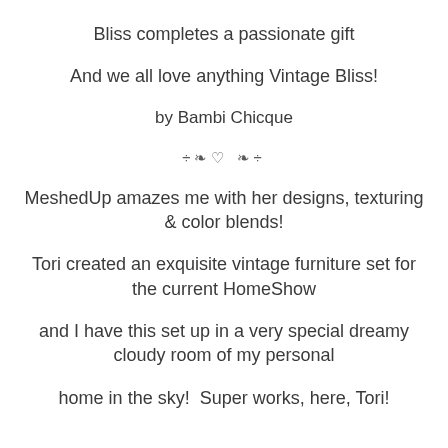Bliss completes a passionate gift
And we all love anything Vintage Bliss!
by Bambi Chicque
÷❧♡ ❧÷
MeshedUp amazes me with her designs, texturing & color blends!
Tori created an exquisite vintage furniture set for the current HomeShow
and I have this set up in a very special dreamy cloudy room of my personal
home in the sky!  Super works, here, Tori!